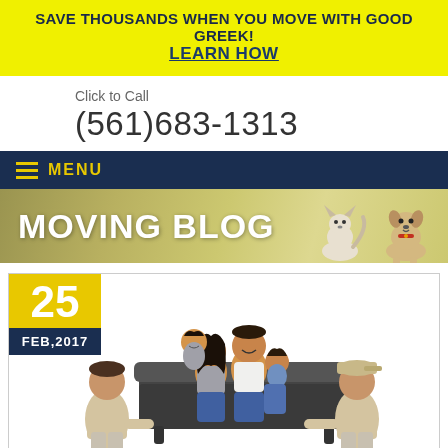SAVE THOUSANDS WHEN YOU MOVE WITH GOOD GREEK! LEARN HOW
Click to Call
(561)683-1313
MENU
[Figure (photo): Moving Blog banner with two dogs (a chihuahua and a terrier) on the right side against an olive/gold gradient background]
[Figure (photo): Blog post card dated February 25, 2017, showing a family of four sitting on a dark sofa being carried by two movers in beige uniforms, white background]